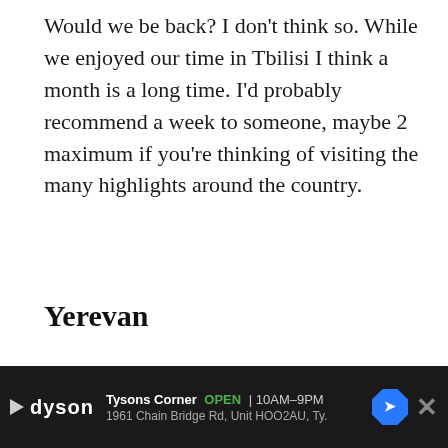Would we be back? I don't think so. While we enjoyed our time in Tbilisi I think a month is a long time. I'd probably recommend a week to someone, maybe 2 maximum if you're thinking of visiting the many highlights around the country.
Yerevan
Despite a horrible apartment experience in Yerevan (our worst Airbnb experience) we actually enjoyed Yerevan. It has interesting sights, lots of parks, good food (very vegetarian friendly) and the place to have a good...